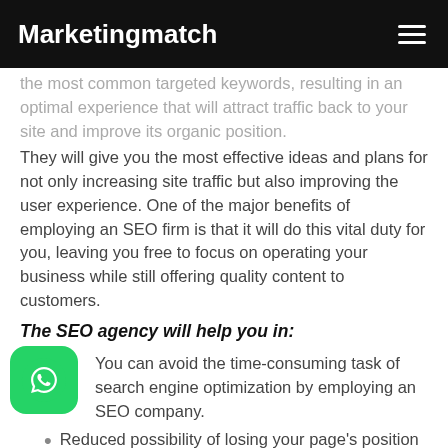Marketingmatch
the most common targeted keywords, resulting in an optimal experience that will attract traffic back to your site and improve its organic position.
They will give you the most effective ideas and plans for not only increasing site traffic but also improving the user experience. One of the major benefits of employing an SEO firm is that it will do this vital duty for you, leaving you free to focus on operating your business while still offering quality content to customers.
The SEO agency will help you in:
You can avoid the time-consuming task of search engine optimization by employing an SEO company.
Reduced possibility of losing your page's position to